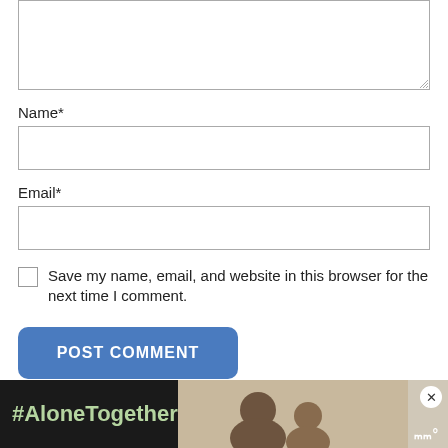[Figure (screenshot): Comment text area input box with resize handle at bottom right]
Name*
[Figure (screenshot): Name input text field, empty]
Email*
[Figure (screenshot): Email input text field, empty]
Save my name, email, and website in this browser for the next time I comment.
[Figure (screenshot): POST COMMENT button, blue rounded rectangle]
[Figure (screenshot): Ad banner: #AloneTogether with photo of family and logo]